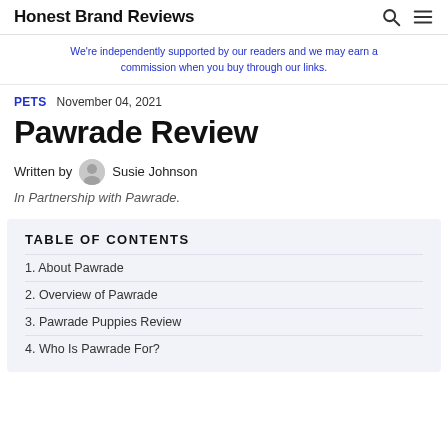Honest Brand Reviews
We're independently supported by our readers and we may earn a commission when you buy through our links.
PETS   November 04, 2021
Pawrade Review
Written by Susie Johnson
In Partnership with Pawrade.
TABLE OF CONTENTS
1. About Pawrade
2. Overview of Pawrade
3. Pawrade Puppies Review
4. Who Is Pawrade For?